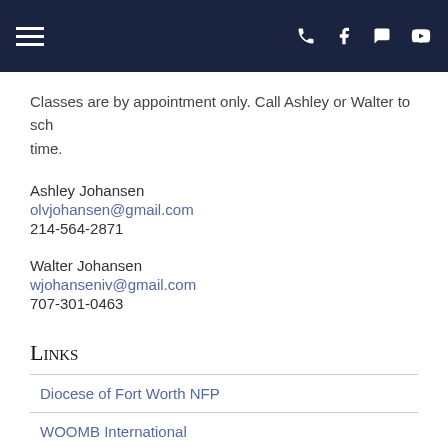Navigation header with hamburger menu and icons (phone, facebook, chat, youtube)
Classes are by appointment only. Call Ashley or Walter to schedule a time.
Ashley Johansen
olvjohansen@gmail.com
214-564-2871
Walter Johansen
wjohanseniv@gmail.com
707-301-0463
Links
Diocese of Fort Worth NFP
WOOMB International